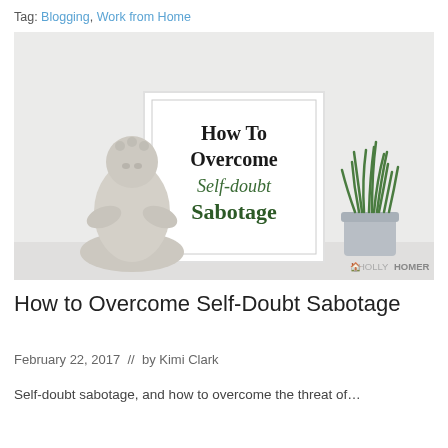Tag: Blogging, Work from Home
[Figure (photo): Photo of a white framed print reading 'How To Overcome Self-doubt Sabotage' with a silver buddha statue on the left and a small potted grass plant on the right, on a white shelf. Watermark reads HOLLYHOMER.]
How to Overcome Self-Doubt Sabotage
February 22, 2017  //  by Kimi Clark
Self-doubt sabotage, and how to overcome the threat of…